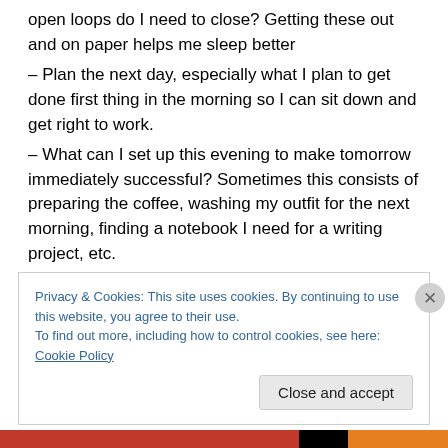open loops do I need to close? Getting these out and on paper helps me sleep better
– Plan the next day, especially what I plan to get done first thing in the morning so I can sit down and get right to work.
– What can I set up this evening to make tomorrow immediately successful? Sometimes this consists of preparing the coffee, washing my outfit for the next morning, finding a notebook I need for a writing project, etc.
– Tidy up the important areas: my kitchen counter and
Privacy & Cookies: This site uses cookies. By continuing to use this website, you agree to their use.
To find out more, including how to control cookies, see here: Cookie Policy